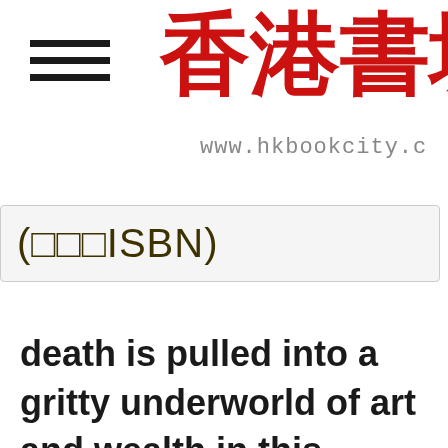[Figure (logo): Hamburger menu icon (three horizontal black lines) on the left, and partial red Chinese characters for Hong Kong Book City on the right, with URL www.hkbookcity.c below]
(□□□ISBN)
[Figure (other): Small dropdown/popup box with two Chinese characters □□ inside]
death is pulled into a gritty underworld of art and wealth in this